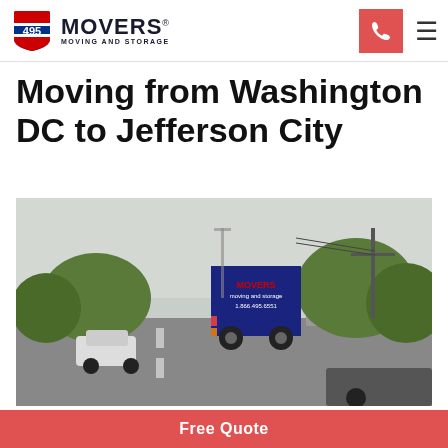495 Movers Moving and Storage — navigation header with logo, phone button, and hamburger menu
Moving from Washington DC to Jefferson City
[Figure (photo): A 495 Movers branded blue moving truck driving on a suburban road, with cars and trees visible, photographed from behind.]
Free Quote